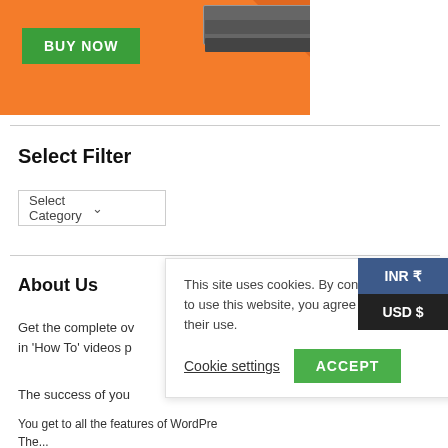[Figure (screenshot): Orange promotional banner with a green 'BUY NOW' button on the left and a server/hardware image on the right]
Select Filter
Select Category ∨
About Us
Get the complete ov... in 'How To' videos p...
The success of you...
This site uses cookies. By contin... to use this website, you agree to... their use.
Cookie settings
ACCEPT
INR ₹
USD $